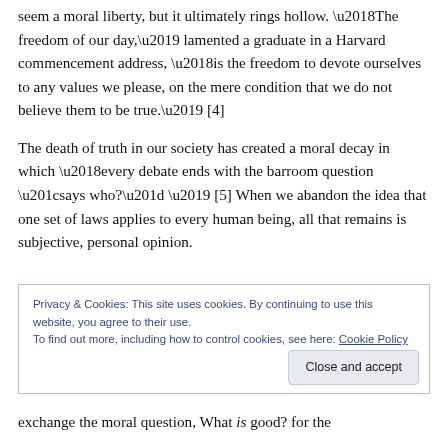seem a moral liberty, but it ultimately rings hollow. ‘The freedom of our day,’ lamented a graduate in a Harvard commencement address, ‘is the freedom to devote ourselves to any values we please, on the mere condition that we do not believe them to be true.’ [4]
The death of truth in our society has created a moral decay in which ‘every debate ends with the barroom question “says who?” ’ [5] When we abandon the idea that one set of laws applies to every human being, all that remains is subjective, personal opinion.
Privacy & Cookies: This site uses cookies. By continuing to use this website, you agree to their use.
To find out more, including how to control cookies, see here: Cookie Policy
exchange the moral question, What is good? for the